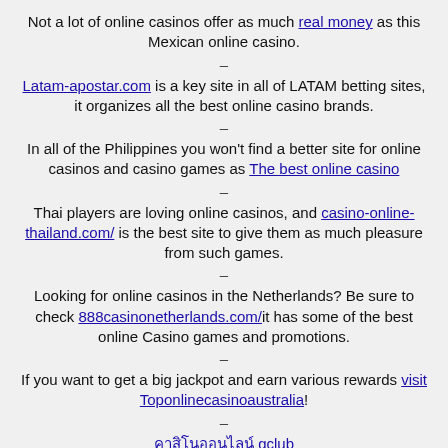Not a lot of online casinos offer as much real money as this Mexican online casino.
–
Latam-apostar.com is a key site in all of LATAM betting sites, it organizes all the best online casino brands.
–
In all of the Philippines you won't find a better site for online casinos and casino games as The best online casino
–
Thai players are loving online casinos, and casino-online-thailand.com/ is the best site to give them as much pleasure from such games.
–
Looking for online casinos in the Netherlands? Be sure to check 888casinonetherlands.com/ it has some of the best online Casino games and promotions.
–
If you want to get a big jackpot and earn various rewards visit Toponlinecasinoaustralia!
–
คาสิโนออนไลน์ gclub